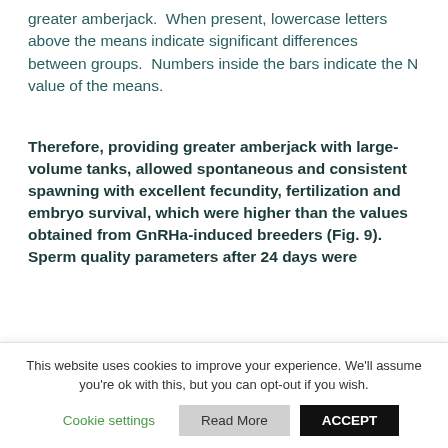greater amberjack.  When present, lowercase letters above the means indicate significant differences between groups.  Numbers inside the bars indicate the N value of the means.
Therefore, providing greater amberjack with large-volume tanks, allowed spontaneous and consistent spawning with excellent fecundity, fertilization and embryo survival, which were higher than the values obtained from GnRHa-induced breeders (Fig. 9). Sperm quality parameters after 24 days were
This website uses cookies to improve your experience. We'll assume you're ok with this, but you can opt-out if you wish.